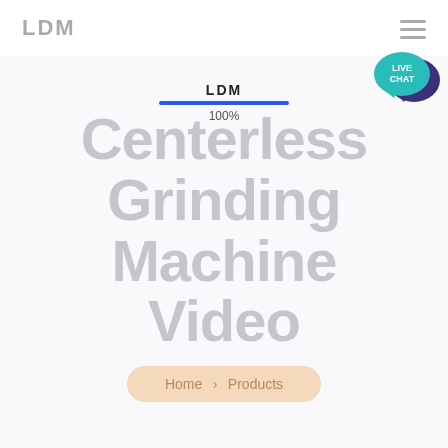LDM
[Figure (illustration): Live chat speech bubble icon with teal/cyan color and dark purple chat bubble. Text inside reads LIVE CHAT.]
LDM Centerless Grinding Machine Video
100%
Home > Products